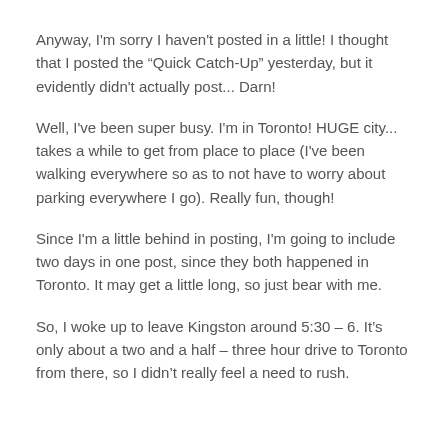Anyway, I'm sorry I haven't posted in a little! I thought that I posted the “Quick Catch-Up” yesterday, but it evidently didn't actually post... Darn!
Well, I've been super busy. I'm in Toronto! HUGE city... takes a while to get from place to place (I've been walking everywhere so as to not have to worry about parking everywhere I go). Really fun, though!
Since I'm a little behind in posting, I'm going to include two days in one post, since they both happened in Toronto. It may get a little long, so just bear with me.
So, I woke up to leave Kingston around 5:30 – 6. It’s only about a two and a half – three hour drive to Toronto from there, so I didn’t really feel a need to rush.